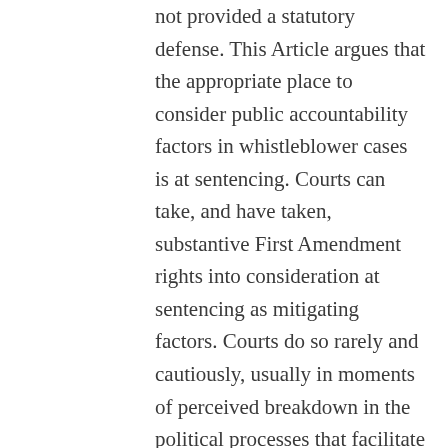not provided a statutory defense. This Article argues that the appropriate place to consider public accountability factors in whistleblower cases is at sentencing. Courts can take, and have taken, substantive First Amendment rights into consideration at sentencing as mitigating factors. Courts do so rarely and cautiously, usually in moments of perceived breakdown in the political processes that facilitate the more typical role of individual rights as limits on government action. Examining historical sentencing practices in fugitive slave rescue and conscientious objector cases, this Article demonstrates the historical validity of taking substantive constitutional interests into account at sentencing—and that the